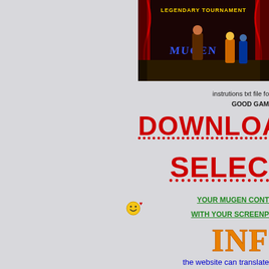[Figure (screenshot): MUGEN fighting game screenshot showing characters with text 'LEGENDARY TOURNAMENT' and the MUGEN logo]
instrutions txt file fo
GOOD GAM
DOWNLOA
SELEC
[Figure (illustration): Small smiley face emoji icon with a red heart dot]
YOUR MUGEN CONT
WITH YOUR SCREENP
[Figure (logo): INF logo in orange/gold stylized text]
the website can translate
translator in